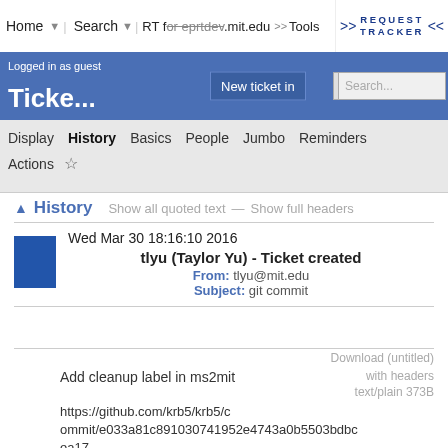Home | Search | RT for eprtdev.mit.edu | Tools >> REQUEST TRACKER <<
Logged in as guest
Ticke...
New ticket in | [dropdown] | Search...
Display | History | Basics | People | Jumbo | Reminders
Actions ☆
^ History   Show all quoted text — Show full headers
Wed Mar 30 18:16:10 2016
tlyu (Taylor Yu) - Ticket created
From: tlyu@mit.edu
Subject: git commit
Download (untitled)
with headers
text/plain 373B
Add cleanup label in ms2mit
https://github.com/krb5/krb5/commit/e033a81c891030741952e4743a0b5503bdbcea17
Author: Sarah Day <sarahday@mit.edu>
Committer: Tom Yu <tlyu@mit.edu>
Commit:
e033a81c891030741952e4743a0b5503bdbcea17